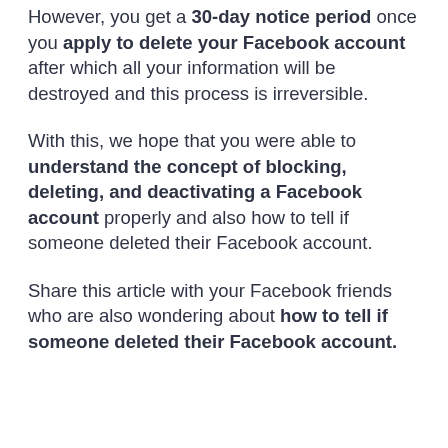However, you get a 30-day notice period once you apply to delete your Facebook account after which all your information will be destroyed and this process is irreversible.
With this, we hope that you were able to understand the concept of blocking, deleting, and deactivating a Facebook account properly and also how to tell if someone deleted their Facebook account.
Share this article with your Facebook friends who are also wondering about how to tell if someone deleted their Facebook account.